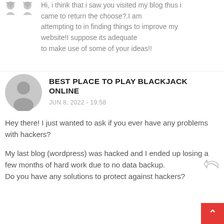Hi, i think that i saw you visited my blog thus i came to return the choose?.I am attempting to in finding things to improve my website!I suppose its adequate to make use of some of your ideas!!
BEST PLACE TO PLAY BLACKJACK ONLINE
JUN 8, 2022 - 19:58
Hey there! I just wanted to ask if you ever have any problems with hackers?
My last blog (wordpress) was hacked and I ended up losing a few months of hard work due to no data backup.
Do you have any solutions to protect against hackers?